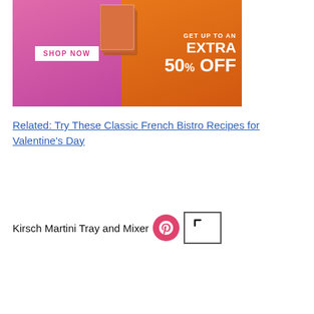[Figure (illustration): Promotional banner advertisement. Left side has pink/magenta gradient background with 'SHOP NOW' button. Right side has orange gradient background with text 'GET UP TO AN EXTRA 50% OFF'. Small magazine stack image in center.]
Related: Try These Classic French Bistro Recipes for Valentine's Day
Kirsch Martini Tray and Mixer